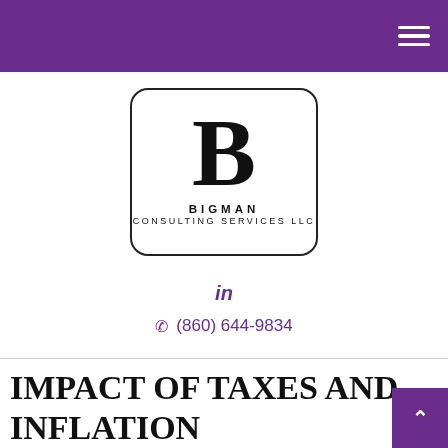Bigman Consulting Services LLC — navigation header
[Figure (logo): Bigman Consulting Services LLC logo: a large bold letter B inside a rounded rectangle border, with 'BIGMAN' and 'CONSULTING SERVICES LLC' text below]
in
(860) 644-9834
IMPACT OF TAXES AND INFLATION